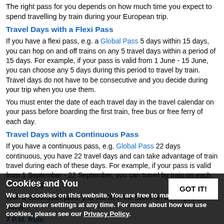The right pass for you depends on how much time you expect to spend travelling by train during your European trip.
Travel Days with a Flexi Pass
If you have a flexi pass, e.g. a Global Pass 5 days within 15 days, you can hop on and off trains on any 5 travel days within a period of 15 days. For example, if your pass is valid from 1 June - 15 June, you can choose any 5 days during this period to travel by train. Travel days do not have to be consecutive and you decide during your trip when you use them.
You must enter the date of each travel day in the travel calendar on your pass before boarding the first train, free bus or free ferry of each day.
Travel Days with a Continuous Pass
If you have a continuous pass, e.g. Global Pass 22 days continuous, you have 22 travel days and can take advantage of train travel during each of these days. For example, if your pass is valid from 1 September - 22 September, you can travel by train on each of these days.
With a continuous pass, you still fill in the dates on which you travel...
7 P.M. Rule
Cookies and You — We use cookies on this website. You are free to manage these via your browser settings at any time. For more about how we use cookies, please see our Privacy Policy.